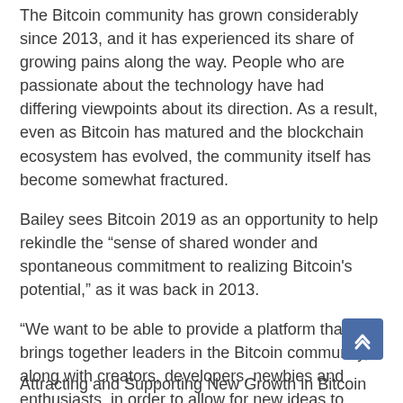The Bitcoin community has grown considerably since 2013, and it has experienced its share of growing pains along the way. People who are passionate about the technology have had differing viewpoints about its direction. As a result, even as Bitcoin has matured and the blockchain ecosystem has evolved, the community itself has become somewhat fractured.
Bailey sees Bitcoin 2019 as an opportunity to help rekindle the "sense of shared wonder and spontaneous commitment to realizing Bitcoin's potential," as it was back in 2013.
"We want to be able to provide a platform that brings together leaders in the Bitcoin community, along with creators, developers, newbies and enthusiasts, in order to allow for new ideas to freely flow among the people who care most about building the Bitcoin of the future," Bailey told Bitcoin Magazine.
"We want to help drive the conversation beyond simply scaling Bitcoin. We want to showcase what's possible to build with Bitcoin, without breaking BTC's consensus rules, which are rigid."
Attracting and Supporting New Growth in Bitcoin